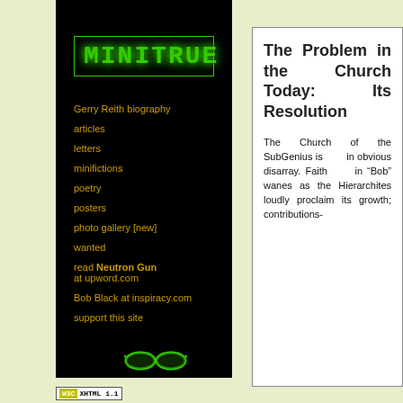[Figure (screenshot): Black navigation panel with green glowing MINITRUE logo and yellow navigation links]
Gerry Reith biography
articles
letters
minifictions
poetry
posters
photo gallery [new]
wanted
read Neutron Gun at upword.com
Bob Black at inspiracy.com
support this site
[Figure (logo): W3C XHTML 1.1 validation badge]
The Problem in the Church Today: Its Resolution
The Church of the SubGenius is in obvious disarray. Faith in “Bob” wanes as the Hierarchites loudly proclaim its growth; contributions-